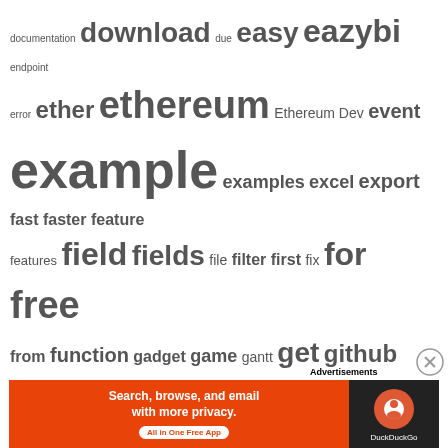[Figure (other): Tag cloud / word cloud containing technology-related terms with varying font sizes indicating frequency/importance. Terms include: documentation, download, due, easy, eazybi, endpoint, error, ether, ethereum, Ethereum Dev, event, example, examples, excel, export, fast, faster, feature, features, field, fields, file, filter, first, fix, for, free, from, function, gadget, game, gantt, get, github, google, groovy, group, guide, hello, hide, hours, how, html, image, import, in, info, install, integration, ipfs, is, issue, issues, it, java, javascript, jira, jql, js, kanban, know, knowtech, last, limit, link, linked, links, linux, list, listener, litecoin, log, macro, management, manual, marketplace, merge, metamask, more, mraddon, my, mysql, new, News, no, not, of, old, on, one, online, open, option, options, page, panel, pelaez, performance, permission, phonegap, play, plugin]
Advertisements
[Figure (screenshot): DuckDuckGo advertisement banner: orange background with text 'Search, browse, and email with more privacy. All in One Free App' and DuckDuckGo logo on dark right panel]